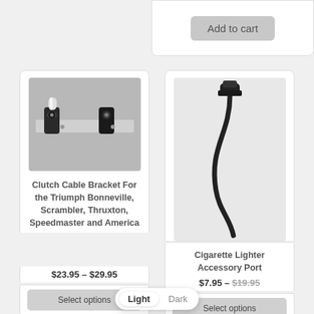[Figure (screenshot): Add to cart button from a product page, partially visible at top right]
[Figure (photo): Photo of a clutch cable bracket product showing metal hardware]
Clutch Cable Bracket For the Triumph Bonneville, Scrambler, Thruxton, Speedmaster and America
$23.95 – $29.95
Select options
[Figure (photo): Photo of a cigarette lighter accessory port cable]
Cigarette Lighter Accessory Port
$7.95 – $19.95
Select options
Light  Dark